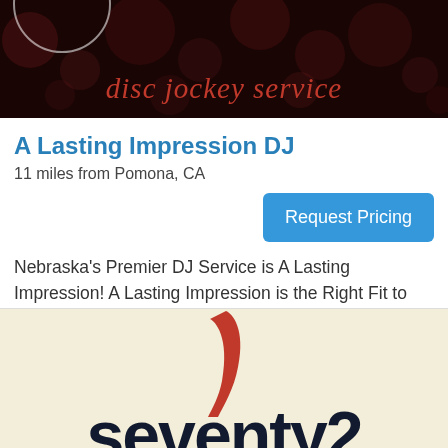[Figure (photo): Dark bokeh background banner with text 'disc jockey service' in red italic script font]
A Lasting Impression DJ
11 miles from Pomona, CA
Request Pricing
Nebraska's Premier DJ Service is A Lasting Impression! A Lasting Impression is the Right Fit to put the Most FUN Into Your Wedding Reception or Party! Excellence in Entertainment Services for Lincoln and Omaha NE!
[Figure (logo): Seventy2 logo with red swoosh graphic above dark navy text reading 'seventy2' (partially visible) on cream/beige background]